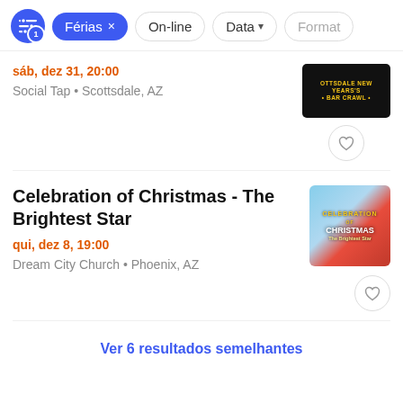Férias × On-line Data ▾ Formato
sáb, dez 31, 20:00
Social Tap • Scottsdale, AZ
[Figure (photo): Scottsdale New Year's Bar Crawl event thumbnail - dark background with yellow text]
Celebration of Christmas - The Brightest Star
qui, dez 8, 19:00
Dream City Church • Phoenix, AZ
[Figure (photo): Celebration of Christmas - The Brightest Star event thumbnail with red sleigh and Christmas text]
Ver 6 resultados semelhantes